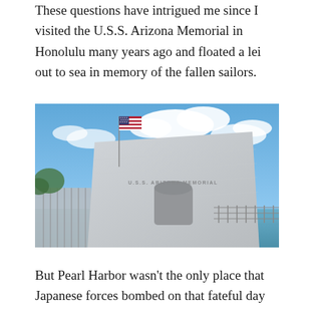These questions have intrigued me since I visited the U.S.S. Arizona Memorial in Honolulu many years ago and floated a lei out to sea in memory of the fallen sailors.
[Figure (photo): Photograph of the U.S.S. Arizona Memorial in Honolulu. The white marble structure sits on the water with an American flag flying above it. The text 'U.S.S. ARIZONA MEMORIAL' is visible on the building facade. A metal railing walkway is visible on the right side. The sky is blue with white clouds.]
But Pearl Harbor wasn't the only place that Japanese forces bombed on that fateful day